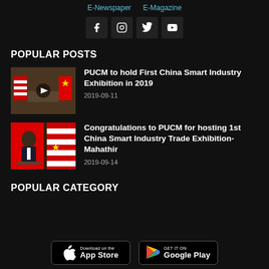E-Newspaper  E-Magazine
[Figure (other): Social media icon buttons for Facebook, Instagram, Twitter, YouTube on dark background]
POPULAR POSTS
[Figure (photo): Thumbnail showing flags and meeting scene with play button overlay]
PUCM to hold First China Smart Industry Exhibition in 2019
2019-09-11
[Figure (photo): Thumbnail of Mahathir at podium with Malaysian and Chinese flags]
Congratulations to PUCM for hosting 1st China Smart Industry Trade Exhibition-Mahathir
2019-09-14
POPULAR CATEGORY
Download on the App Store   GET IT ON Google Play